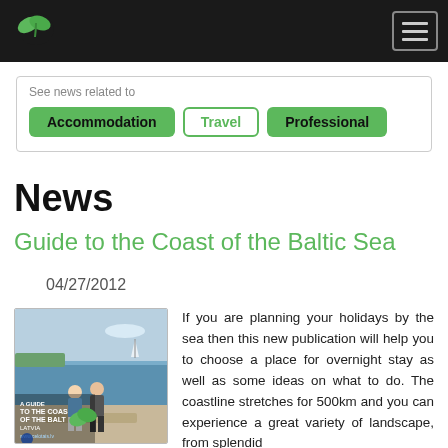See news related to
Accommodation
Travel
Professional
News
Guide to the Coast of the Baltic Sea
04/27/2012
[Figure (photo): Book cover showing Guide to the Coast of the Baltic Sea, Latvia, with two young women walking on a beach promenade by the Baltic Sea]
If you are planning your holidays by the sea then this new publication will help you to choose a place for overnight stay as well as some ideas on what to do. The coastline stretches for 500km and you can experience a great variety of landscape, from splendid